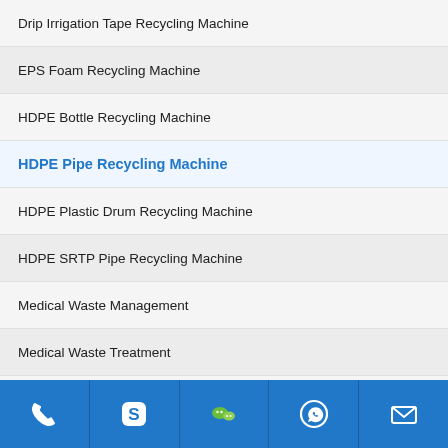Drip Irrigation Tape Recycling Machine
EPS Foam Recycling Machine
HDPE Bottle Recycling Machine
HDPE Pipe Recycling Machine
HDPE Plastic Drum Recycling Machine
HDPE SRTP Pipe Recycling Machine
Medical Waste Management
Medical Waste Treatment
Plastic Lumps Recycling Machine
Plastic Water Tank Recycling Machine
PP Bag Recycling Machine
PP Battery Box Recycling Machine
PP PE Plastic Bottle Cans Recycling Machine
PVC Rain Boots Recycling
[Figure (other): Bottom navigation bar with phone, Skype, WeChat, WhatsApp, and email icons on blue background]